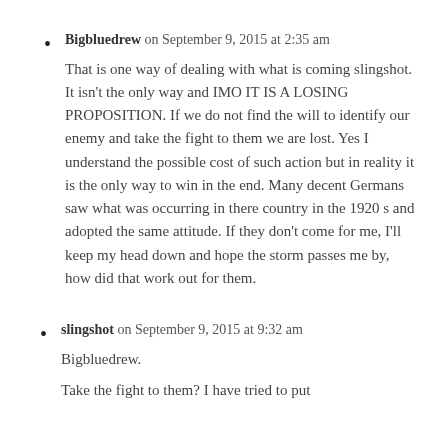Bigbluedrew on September 9, 2015 at 2:35 am
That is one way of dealing with what is coming slingshot. It isn't the only way and IMO IT IS A LOSING PROPOSITION. If we do not find the will to identify our enemy and take the fight to them we are lost. Yes I understand the possible cost of such action but in reality it is the only way to win in the end. Many decent Germans saw what was occurring in there country in the 1920 s and adopted the same attitude. If they don't come for me, I'll keep my head down and hope the storm passes me by, how did that work out for them.
slingshot on September 9, 2015 at 9:32 am
Bigbluedrew.
Take the fight to them? I have tried to put